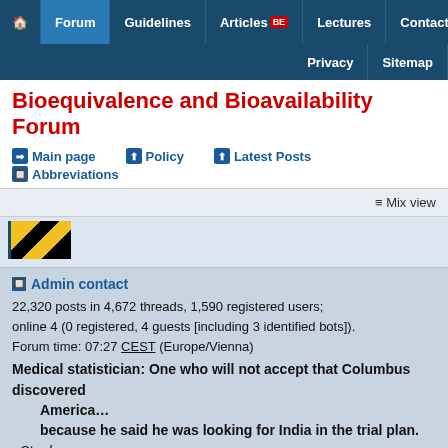Home | Forum | Guidelines | Articles BE | Lectures | Contact | Privacy | Sitemap
Bioequivalence and Bioavailability Forum
Main page | Policy | Latest Posts | Abbreviations
Mix view
[Figure (illustration): Yellow and black diagonal striped avatar/image with blue left border]
Admin contact
22,320 posts in 4,672 threads, 1,590 registered users;
online 4 (0 registered, 4 guests [including 3 identified bots]).
Forum time: 07:27 CEST (Europe/Vienna)
Medical statistician: One who will not accept that Columbus discovered America… because he said he was looking for India in the trial plan. Stephen Senn
·BAC Ing. Helmut Schütz